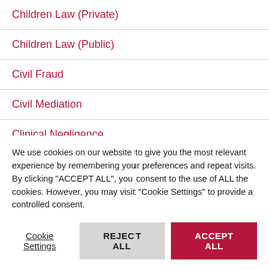Children Law (Private)
Children Law (Public)
Civil Fraud
Civil Mediation
Clinical Negligence
Commercial
Commercial Arbitration
Court of Protection
We use cookies on our website to give you the most relevant experience by remembering your preferences and repeat visits. By clicking “ACCEPT ALL”, you consent to the use of ALL the cookies. However, you may visit “Cookie Settings” to provide a controlled consent.
Cookie Settings | REJECT ALL | ACCEPT ALL